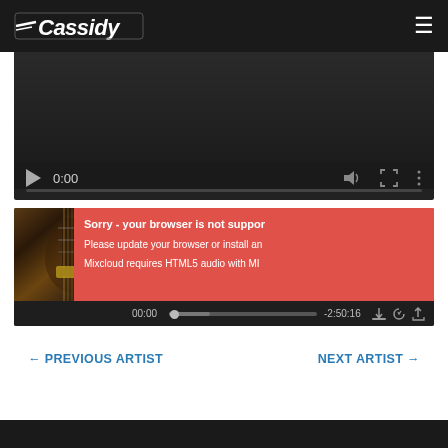Cassidy - site header with logo and hamburger menu
[Figure (screenshot): Embedded video player with dark background, showing time 0:00, play button, mute/fullscreen/more icons, and a progress bar]
[Figure (screenshot): Mixcloud audio player with guitar photo on left, play button, error message overlay reading 'Sorry - your browser is not supported. Please update your browser or install an... Mixcloud requires HTML5 audio with MP...' in red, and bottom controls showing 00:00 and -2:50:16]
← PREVIOUS ARTIST
NEXT ARTIST →